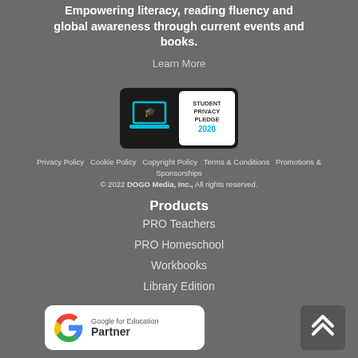Empowering literacy, reading fluency and global awareness through current events and books.
Learn More
[Figure (logo): Student Privacy Pledge 2020 badge with laptop icon]
Privacy Policy   Cookie Policy   Copyright Policy   Terms & Conditions   Promotions & Sponsorships
© 2022 DOGO Media, Inc., All rights reserved.
Products
PRO Teachers
PRO Homeschool
Workbooks
Library Edition
[Figure (logo): Google for Education Partner badge]
[Figure (other): Scroll to top arrow button]